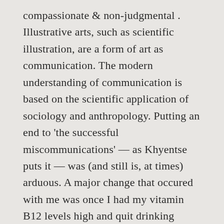compassionate & non-judgmental. Illustrative arts, such as scientific illustration, are a form of art as communication. The modern understanding of communication is based on the scientific application of sociology and anthropology. Putting an end to 'the successful miscommunications' — as Khyentse puts it — was (and still is, at times) arduous. A major change that occured with me was once I had my vitamin B12 levels high and quit drinking coffee, my memory and thought train improved drastically so I didn't need to interrupt to get my idea in before I forgot. Thousands of new, high-quality pictures added every day. For example, if art is